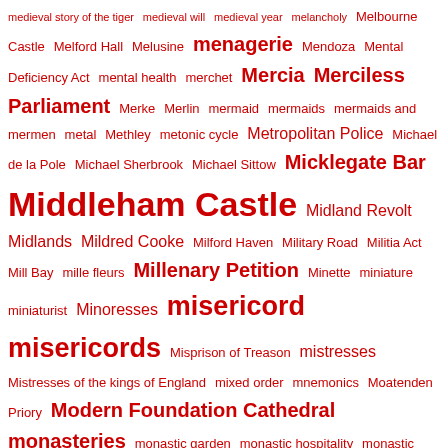medieval story of the tiger  medieval will  medieval year  melancholy  Melbourne Castle  Melford Hall  Melusine  menagerie  Mendoza  Mental Deficiency Act  mental health  merchet  Mercia  Merciless Parliament  Merke  Merlin  mermaid  mermaids  mermaids and mermen  metal  Methley  metonic cycle  Metropolitan Police  Michael de la Pole  Michael Sherbrook  Michael Sittow  Micklegate Bar  Middleham Castle  Midland Revolt  Midlands  Mildred Cooke  Milford Haven  Military Road  Militia Act  Mill Bay  mille fleurs  Millenary Petition  Minette  miniature  miniaturist  Minoresses  misericord  misericords  Misprison of Treason  mistresses  Mistresses of the kings of England  mixed order  mnemonics  Moatenden Priory  Modern Foundation Cathedral  monasteries  monastic garden  monastic hospitality  monastic houses in England and Wales  monastic houses of Derbyshire  monastic words  Moneyash  Monk Bretton Priory  monks  Monmouth  Monson  Moorhouse's Comet  Moor Park  Mope  Mora  Morcar  Morcar of Northumbria  morganatic marriage  Morgan Williams  Mortimer  Mortimer's Cross  Morton  Mother Emet  Mother Lowe  mother of the maids  Mother Sutton  motte and bailey castle  motto